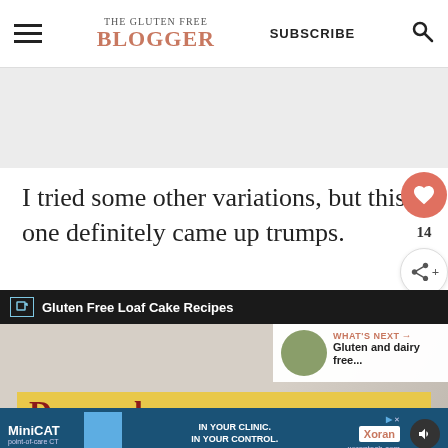THE GLUTEN FREE BLOGGER | SUBSCRIBE
[Figure (screenshot): Gray advertisement placeholder area]
I tried some other variations, but this one definitely came up trumps.
[Figure (screenshot): Gluten Free Loaf Cake Recipes video link box with What's Next panel showing Gluten and dairy free... and a yellow banner reading Do you love a, with a bottom advertisement bar for MiniCAT point-of-care CT and Xoran xorantech.com]